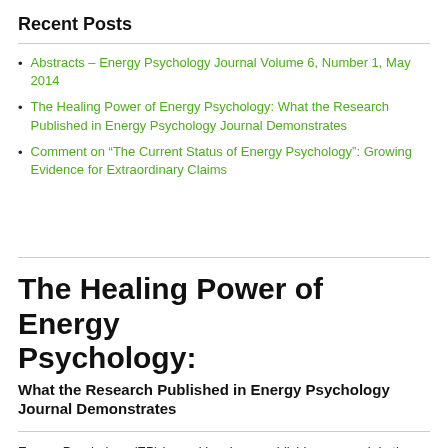Recent Posts
Abstracts – Energy Psychology Journal Volume 6, Number 1, May 2014
The Healing Power of Energy Psychology: What the Research Published in Energy Psychology Journal Demonstrates
Comment on “The Current Status of Energy Psychology”: Growing Evidence for Extraordinary Claims
The Healing Power of Energy Psychology:
What the Research Published in Energy Psychology Journal Demonstrates
Energy Psychology (EP) journal has been publishing research in the field for many years.
Here, editor Dawson Church looks at some of the most noteworthy